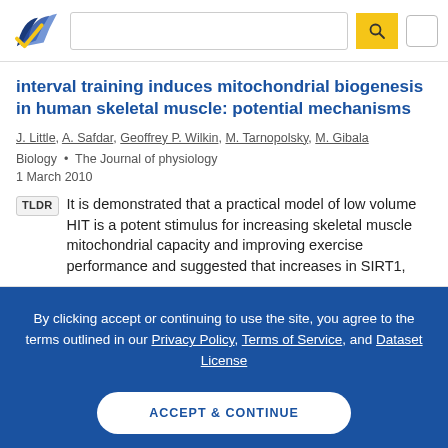Semantic Scholar header with logo, search bar, and account button
interval training induces mitochondrial biogenesis in human skeletal muscle: potential mechanisms
J. Little, A. Safdar, Geoffrey P. Wilkin, M. Tarnopolsky, M. Gibala
Biology · The Journal of physiology
1 March 2010
TLDR It is demonstrated that a practical model of low volume HIT is a potent stimulus for increasing skeletal muscle mitochondrial capacity and improving exercise performance and suggested that increases in SIRT1,
By clicking accept or continuing to use the site, you agree to the terms outlined in our Privacy Policy, Terms of Service, and Dataset License
ACCEPT & CONTINUE